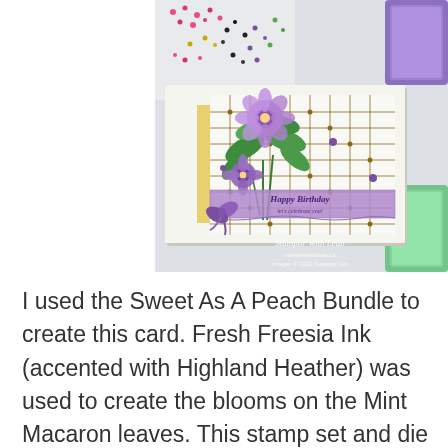[Figure (photo): A handmade birthday card featuring a geometric grid pattern in brown/gold with purple flowers and green leaves, a purple ribbon and bow, and a 'Happy Birthday' sentiment banner in purple. The card is shown on a crafting table alongside ink pads in purple and green. A watermark reads 'Stampin with Leah' with website stampinwithleah.ca and Images © 2022 Stampin' Up!]
I used the Sweet As A Peach Bundle to create this card. Fresh Freesia Ink (accented with Highland Heather) was used to create the blooms on the Mint Macaron leaves. This stamp set and die